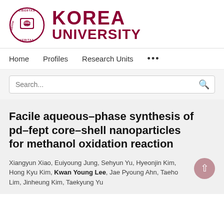[Figure (logo): Korea University logo: circular seal with lion and text LIBERTAS JUSTITIA VERITAS, next to bold dark red text KOREA UNIVERSITY]
Home   Profiles   Research Units   ...
Facile aqueous–phase synthesis of pd–fept core–shell nanoparticles for methanol oxidation reaction
Xiangyun Xiao, Euiyoung Jung, Sehyun Yu, Hyeonjin Kim, Hong Kyu Kim, Kwan Young Lee, Jae Pyoung Ahn, Taeho Lim, Jinheung Kim, Taekyung Yu